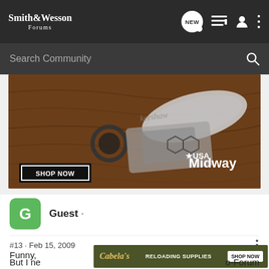Smith & Wesson Forums
Search Community
[Figure (photo): MidwayUSA advertisement banner showing Kershaw knives/tools on a brown wood-grain background with 'SHOP NOW' button]
Guest ·
#13 · Feb 15, 2009
Funny,
[Figure (screenshot): Cabela's advertisement banner: 'RELOADING SUPPLIES - SHOP NOW' on dark olive background]
But I ne                                       o-Forum